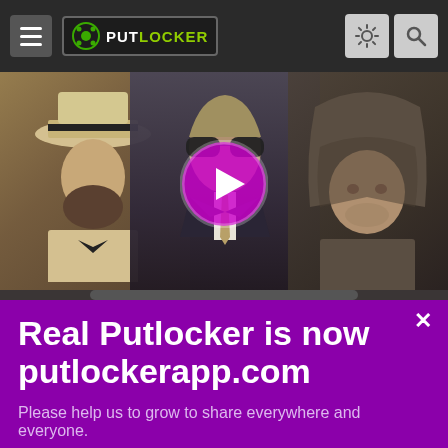Putlocker navigation bar with hamburger menu, Putlocker logo, settings icon, and search icon
[Figure (screenshot): Movie/video thumbnail showing three figures: a man with a fedora hat on the left, a suited man with sunglasses in the center, and a hooded figure on the right. A pink/magenta play button circle overlays the center.]
Real Putlocker is now putlockerapp.com
Please help us to grow to share everywhere and everyone.